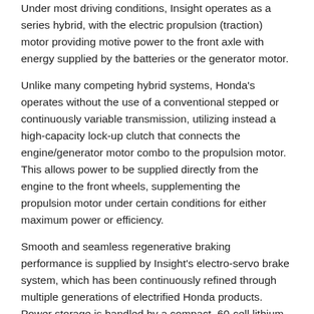Under most driving conditions, Insight operates as a series hybrid, with the electric propulsion (traction) motor providing motive power to the front axle with energy supplied by the batteries or the generator motor.
Unlike many competing hybrid systems, Honda's operates without the use of a conventional stepped or continuously variable transmission, utilizing instead a high-capacity lock-up clutch that connects the engine/generator motor combo to the propulsion motor. This allows power to be supplied directly from the engine to the front wheels, supplementing the propulsion motor under certain conditions for either maximum power or efficiency.
Smooth and seamless regenerative braking performance is supplied by Insight's electro-servo brake system, which has been continuously refined through multiple generations of electrified Honda products. Power storage is handled by a compact, 60-cell lithium-ion battery pack, located under the rear seats to enable a full-size trunk and the people- and cargo-hauling flexibility of a fold down rear seat with no